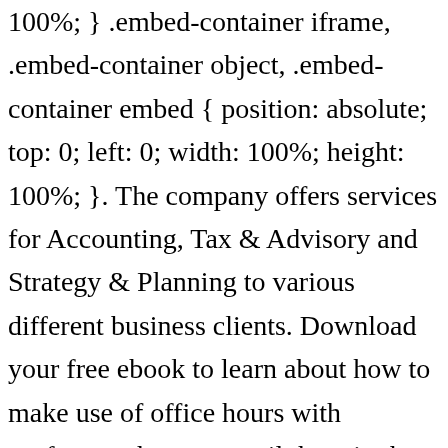100%; } .embed-container iframe, .embed-container object, .embed-container embed { position: absolute; top: 0; left: 0; width: 100%; height: 100%; }. The company offers services for Accounting, Tax & Advisory and Strategy & Planning to various different business clients. Download your free ebook to learn about how to make use of office hours with professors, how to email them in the right manner and overall, build an effective relationship to boost your career. All Rights Reserved.Portland Internet Marketing by The Clix Group, Affordable Care Act Exchanges